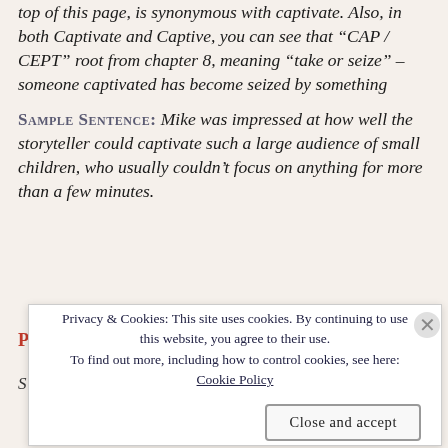top of this page, is synonymous with captivate. Also, in both Captivate and Captive, you can see that "CAP / CEPT" root from chapter 8, meaning "take or seize" – someone captivated has become seized by something
SAMPLE SENTENCE: Mike was impressed at how well the storyteller could captivate such a large audience of small children, who usually couldn't focus on anything for more than a few minutes.
Privacy & Cookies: This site uses cookies. By continuing to use this website, you agree to their use. To find out more, including how to control cookies, see here: Cookie Policy